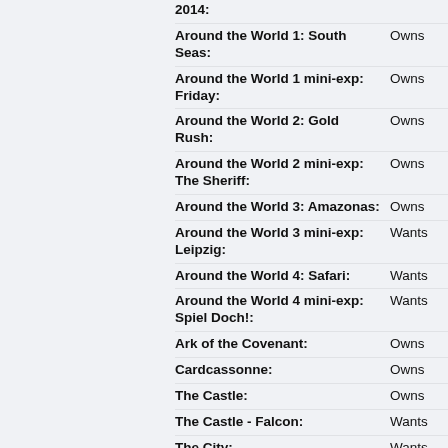2014: (truncated top)
Around the World 1: South Seas: Owns
Around the World 1 mini-exp: Friday: Owns
Around the World 2: Gold Rush: Owns
Around the World 2 mini-exp: The Sheriff: Owns
Around the World 3: Amazonas: Owns
Around the World 3 mini-exp: Leipzig: Wants
Around the World 4: Safari: Wants
Around the World 4 mini-exp: Spiel Doch!: Wants
Ark of the Covenant: Owns
Cardcassonne: Owns
The Castle: Owns
The Castle - Falcon: Wants
The City: Wants
The Dice Game: Owns
The Discovery: Owns
Hunters & Gatherers: Owns
Hunters & Gatherers (2nd Wants